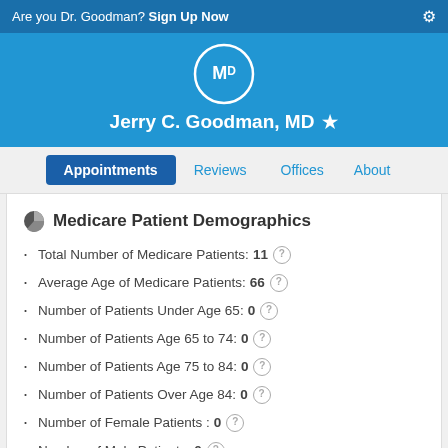Are you Dr. Goodman? Sign Up Now
Jerry C. Goodman, MD
Appointments | Reviews | Offices | About
Medicare Patient Demographics
Total Number of Medicare Patients: 11
Average Age of Medicare Patients: 66
Number of Patients Under Age 65: 0
Number of Patients Age 65 to 74: 0
Number of Patients Age 75 to 84: 0
Number of Patients Over Age 84: 0
Number of Female Patients : 0
Number of Male Patients: 0